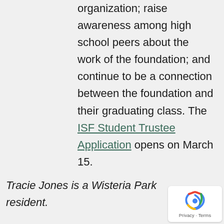organization; raise awareness among high school peers about the work of the foundation; and continue to be a connection between the foundation and their graduating class. The ISF Student Trustee Application opens on March 15.
Tracie Jones is a Wisteria Park resident.